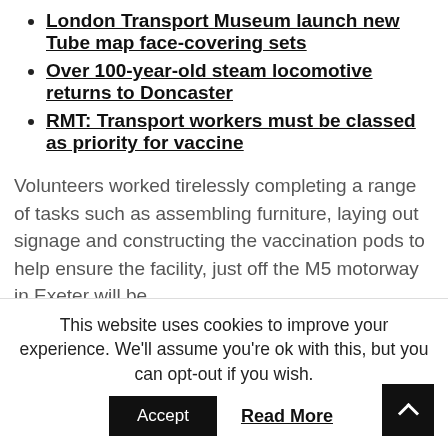London Transport Museum launch new Tube map face-covering sets
Over 100-year-old steam locomotive returns to Doncaster
RMT: Transport workers must be classed as priority for vaccine
Volunteers worked tirelessly completing a range of tasks such as assembling furniture, laying out signage and constructing the vaccination pods to help ensure the facility, just off the M5 motorway in Exeter will be
This website uses cookies to improve your experience. We'll assume you're ok with this, but you can opt-out if you wish.